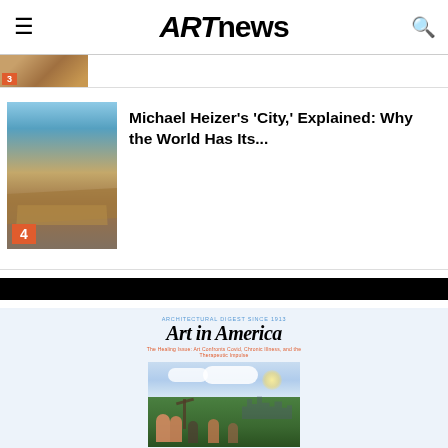ARTnews
[Figure (photo): Partially visible thumbnail image of article ranked 3]
[Figure (photo): Photograph of Michael Heizer's 'City' land art installation, showing angular earthwork structures in desert landscape, numbered 4]
Michael Heizer's 'City,' Explained: Why the World Has Its...
[Figure (photo): Art in America magazine cover showing 'The Healing Issue: Art Confronts Covid, Chronic Illness, and the Therapeutic Impulse' with outdoor scene of people in a park with city skyline background]